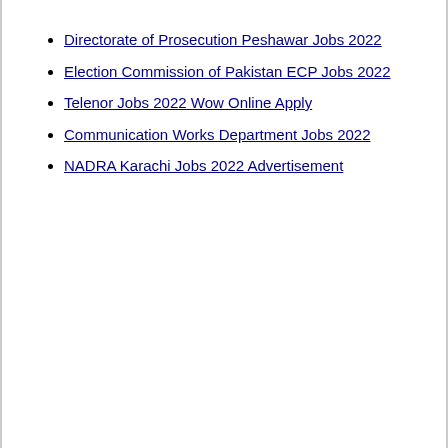Directorate of Prosecution Peshawar Jobs 2022
Election Commission of Pakistan ECP Jobs 2022
Telenor Jobs 2022 Wow Online Apply
Communication Works Department Jobs 2022
NADRA Karachi Jobs 2022 Advertisement